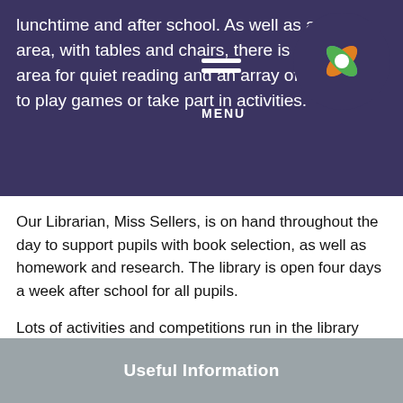lunchtime and after school. As well as a study area, with tables and chairs, there is a seating area for quiet reading and an array of resources to play games or take part in activities.
[Figure (logo): School logo: colorful petal/leaf design on dark circular background]
Our Librarian, Miss Sellers, is on hand throughout the day to support pupils with book selection, as well as homework and research. The library is open four days a week after school for all pupils.
Lots of activities and competitions run in the library during the year to encourage reading for interest and pleasure. Pupils also help run the library through the Pupil Librarian system.
Useful Information